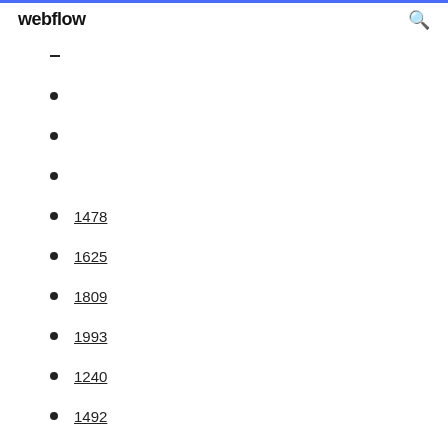webflow
1478
1625
1809
1993
1240
1492
1935
224
574